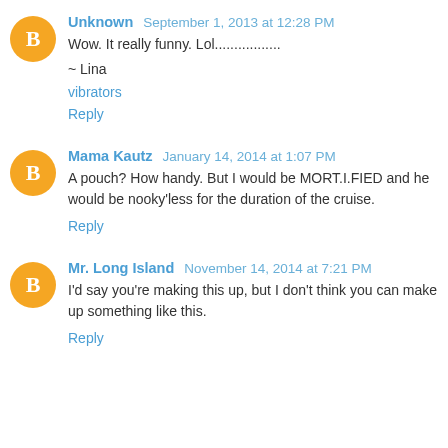Unknown  September 1, 2013 at 12:28 PM
Wow. It really funny. Lol.................
~ Lina
vibrators
Reply
Mama Kautz  January 14, 2014 at 1:07 PM
A pouch? How handy. But I would be MORT.I.FIED and he would be nooky'less for the duration of the cruise.
Reply
Mr. Long Island  November 14, 2014 at 7:21 PM
I'd say you're making this up, but I don't think you can make up something like this.
Reply